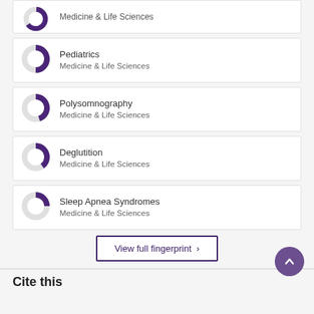[Figure (donut-chart): Partial donut chart (cropped at top) with purple fill, category unknown]
Medicine & Life Sciences
[Figure (donut-chart): Donut chart ~50% filled in purple for Pediatrics]
Pediatrics
Medicine & Life Sciences
[Figure (donut-chart): Donut chart ~45% filled in purple for Polysomnography]
Polysomnography
Medicine & Life Sciences
[Figure (donut-chart): Donut chart ~40% filled in purple for Deglutition]
Deglutition
Medicine & Life Sciences
[Figure (donut-chart): Donut chart ~25% filled in purple for Sleep Apnea Syndromes]
Sleep Apnea Syndromes
Medicine & Life Sciences
View full fingerprint >
Cite this